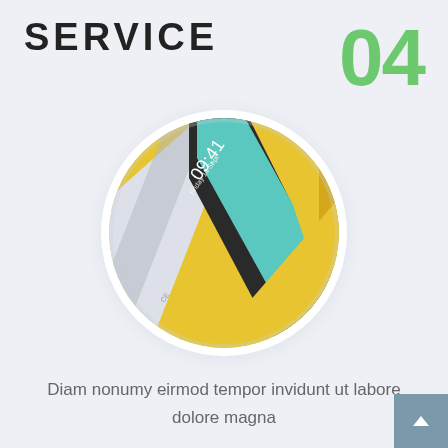SERVICE
04
[Figure (photo): Circular cropped photo of smartphones with yellow/gold back covers and one displaying a lock screen showing 09:41 time, arranged diagonally]
Diam nonumy eirmod tempor invidunt ut labore dolore magna